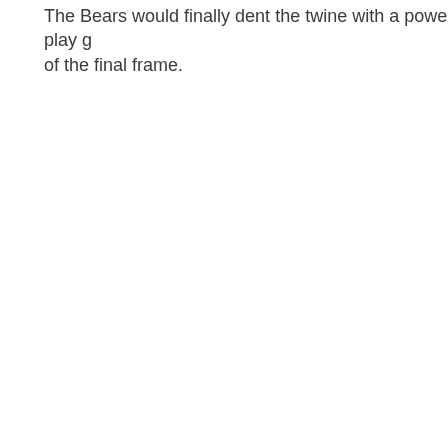The Bears would finally dent the twine with a power play g of the final frame.